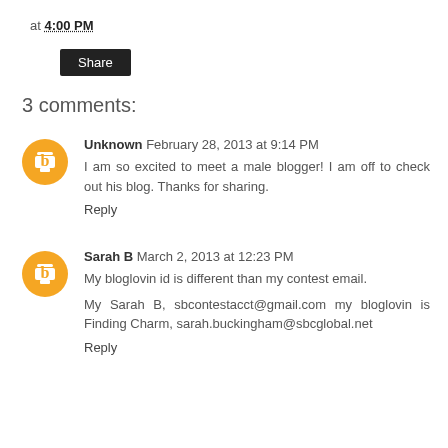at 4:00 PM
Share
3 comments:
Unknown  February 28, 2013 at 9:14 PM
I am so excited to meet a male blogger! I am off to check out his blog. Thanks for sharing.
Reply
Sarah B  March 2, 2013 at 12:23 PM
My bloglovin id is different than my contest email.
My Sarah B, sbcontestacct@gmail.com my bloglovin is Finding Charm, sarah.buckingham@sbcglobal.net
Reply